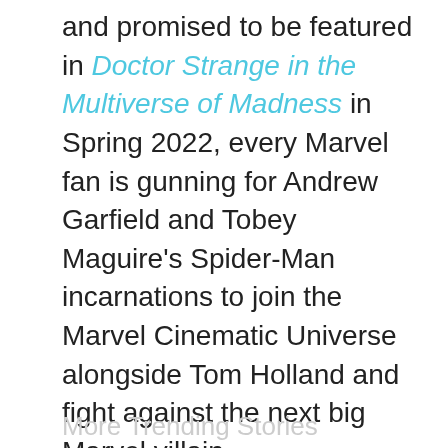and promised to be featured in Doctor Strange in the Multiverse of Madness in Spring 2022, every Marvel fan is gunning for Andrew Garfield and Tobey Maguire's Spider-Man incarnations to join the Marvel Cinematic Universe alongside Tom Holland and fight against the next big Marvel villain.